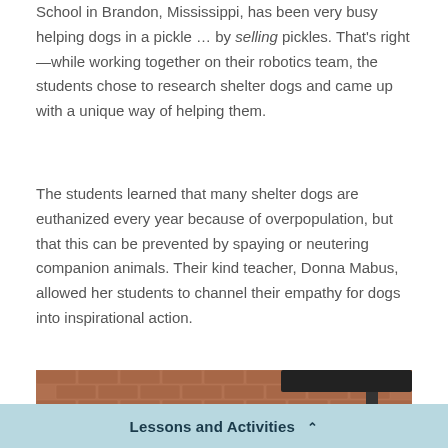School in Brandon, Mississippi, has been very busy helping dogs in a pickle … by selling pickles. That's right—while working together on their robotics team, the students chose to research shelter dogs and came up with a unique way of helping them.
The students learned that many shelter dogs are euthanized every year because of overpopulation, but that this can be prevented by spaying or neutering companion animals. Their kind teacher, Donna Mabus, allowed her students to channel their empathy for dogs into inspirational action.
[Figure (photo): A group of children wearing blue t-shirts posing together in front of a brick building with a dark canopy overhang. The word 'ATTENDANCE' is partially visible on the right side.]
Lessons and Activities